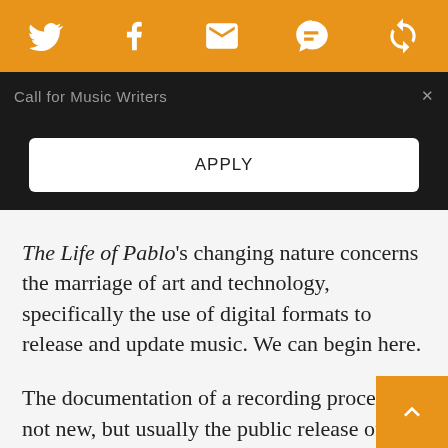[Figure (other): Orange header bar with social media icons: Twitter bird, Facebook f, envelope (email), SMS speech bubble, and a circular arrow (feed/RSS) icon]
Call for Music Writers
APPLY
The Life of Pablo's changing nature concerns the marriage of art and technology, specifically the use of digital formats to release and update music. We can begin here.
The documentation of a recording process is not new, but usually the public release of that process is presented as an archival release of historical importance. Case in point: the recent Bob Dy[lan] box set, The Bootleg Series Vol. 12: The Cutting Edge